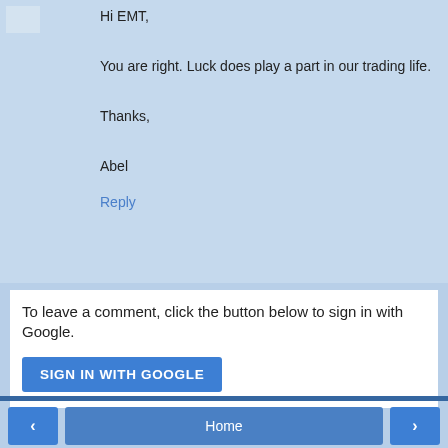Hi EMT,

You are right. Luck does play a part in our trading life.

Thanks,

Abel
Reply
To leave a comment, click the button below to sign in with Google.
SIGN IN WITH GOOGLE
< Home >
View web version
Powered by Blogger.